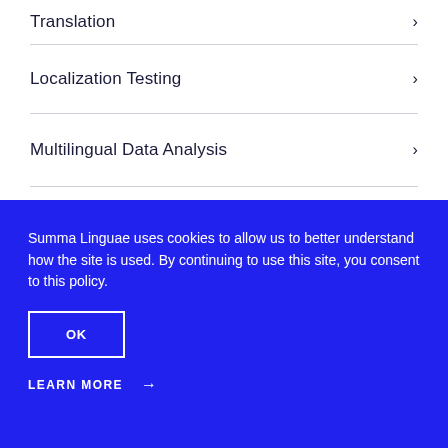Translation
Localization Testing
Multilingual Data Analysis
Summa Linguae uses cookies to allow us to better understand how the site is used. By continuing to use this site, you consent to this policy.
OK
LEARN MORE →